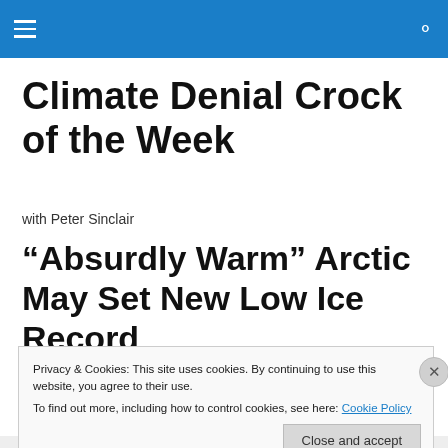Climate Denial Crock of the Week — navigation header bar
Climate Denial Crock of the Week
with Peter Sinclair
“Absurdly Warm” Arctic May Set New Low Ice Record
Privacy & Cookies: This site uses cookies. By continuing to use this website, you agree to their use.
To find out more, including how to control cookies, see here: Cookie Policy